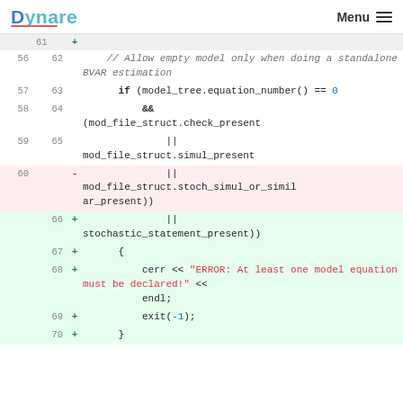Dynare   Menu
[Figure (screenshot): Code diff view showing lines 56-70, with removed line 60 (pink background) showing stoch_simul_or_similar_present and added lines 61-70 (green background) showing stochastic_statement_present and error handling code]